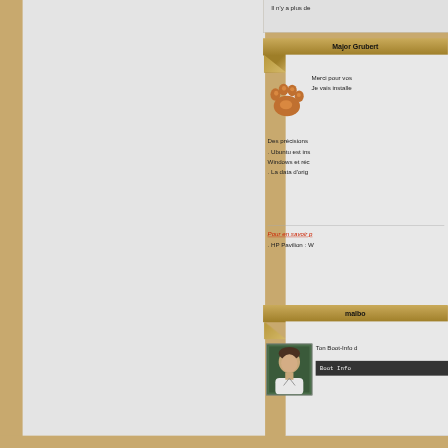Il n'y a plus de
Major Grubert
[Figure (logo): GNOME footprint logo in orange/brown]
Merci pour vos
Je vais installe
Des précisions
. Ubuntu est ins
Windows et réc
. La data d'orig
Pour en savoir p
. HP Pavilion : W
malbo
[Figure (photo): Profile photo of a man in white shirt]
Ton Boot-Info d
Boot Info